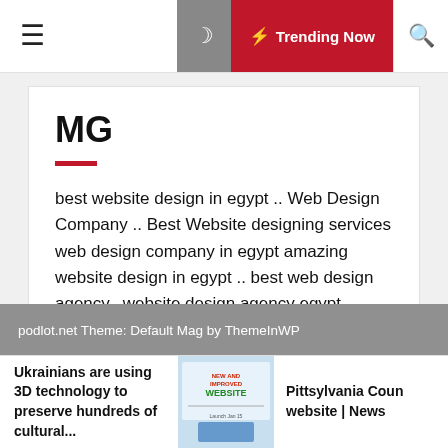☰ ☽ ⚡ Trending Now 🔍
MG
best website design in egypt .. Web Design Company .. Best Website designing services web design company in egypt amazing website design in egypt .. best web design agency.. website design agency egypt
podlot.net Theme: Default Mag by ThemeInWP
Ukrainians are using 3D technology to preserve hundreds of cultural...
[Figure (screenshot): Small thumbnail image of a website with 'NEW AND IMPROVED WEBSITE' text]
Pittsylvania Coun website | News